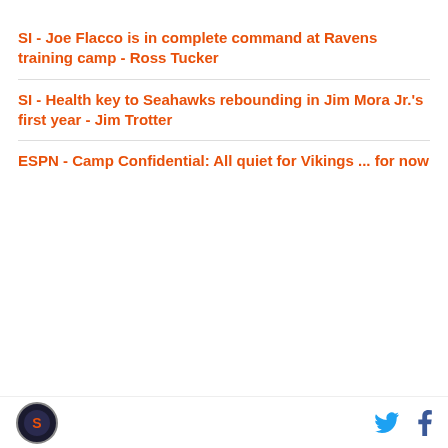SI - Joe Flacco is in complete command at Ravens training camp - Ross Tucker
SI - Health key to Seahawks rebounding in Jim Mora Jr.'s first year - Jim Trotter
ESPN - Camp Confidential: All quiet for Vikings ... for now
[Figure (other): Advertisement box with 'AD' label and dark image below]
Logo icon | Twitter icon | Facebook icon